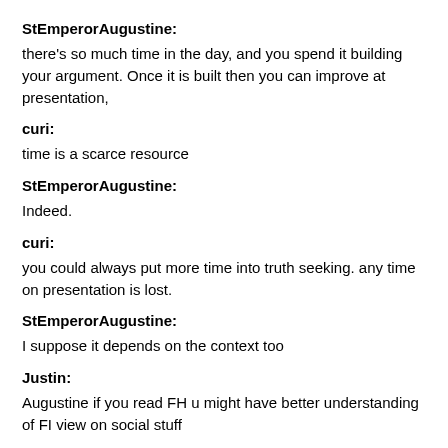StEmperorAugustine:
there's so much time in the day, and you spend it building your argument. Once it is built then you can improve at presentation,
curi:
time is a scarce resource
StEmperorAugustine:
Indeed.
curi:
you could always put more time into truth seeking. any time on presentation is lost.
StEmperorAugustine:
I suppose it depends on the context too
Justin:
Augustine if you read FH u might have better understanding of FI view on social stuff